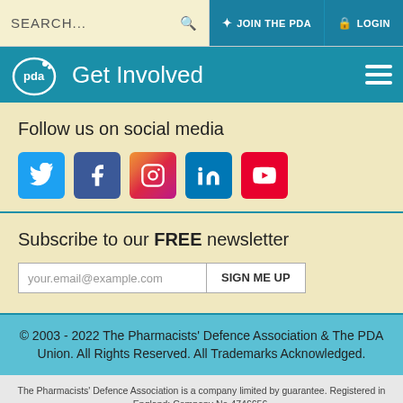SEARCH... | JOIN THE PDA | LOGIN
Get Involved
Follow us on social media
[Figure (other): Social media icons: Twitter, Facebook, Instagram, LinkedIn, YouTube]
Subscribe to our FREE newsletter
your.email@example.com | SIGN ME UP
© 2003 - 2022 The Pharmacists' Defence Association & The PDA Union. All Rights Reserved. All Trademarks Acknowledged.
The Pharmacists' Defence Association is a company limited by guarantee. Registered in England; Company No 4746656.
The Pharmacists' Defence Association is an appointed representative in respect of insurance mediation activities only of
COOKIE USE
This website uses cookies to help us provide the best user experience. If you continue browsing you are giving your consent to our use of cookies.
✓ Hide Message ... Read More